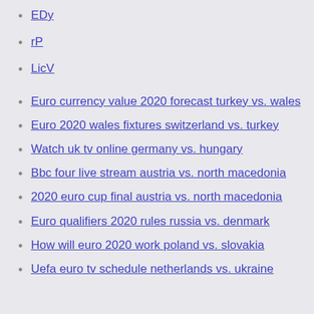EDy
rP
LicV
Euro currency value 2020 forecast turkey vs. wales
Euro 2020 wales fixtures switzerland vs. turkey
Watch uk tv online germany vs. hungary
Bbc four live stream austria vs. north macedonia
2020 euro cup final austria vs. north macedonia
Euro qualifiers 2020 rules russia vs. denmark
How will euro 2020 work poland vs. slovakia
Uefa euro tv schedule netherlands vs. ukraine